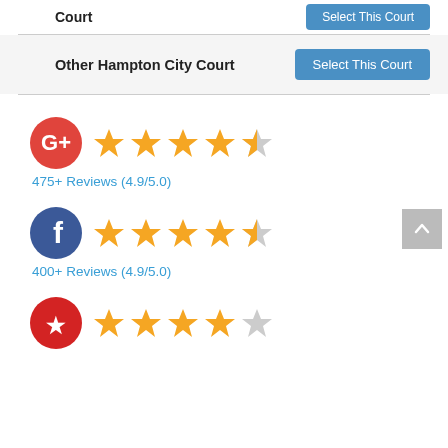Court
Other Hampton City Court
Select This Court
[Figure (infographic): Google+ logo (red circle with G+ white text) followed by 4.5 star rating (4 full gold stars and 1 half star)]
475+ Reviews (4.9/5.0)
[Figure (infographic): Facebook logo (dark blue circle with white f) followed by 4.5 star rating (4 full gold stars and 1 half star)]
400+ Reviews (4.9/5.0)
[Figure (infographic): Yelp logo (red circle with white yelp burst icon) followed by 5 star rating (5 full gold stars)]